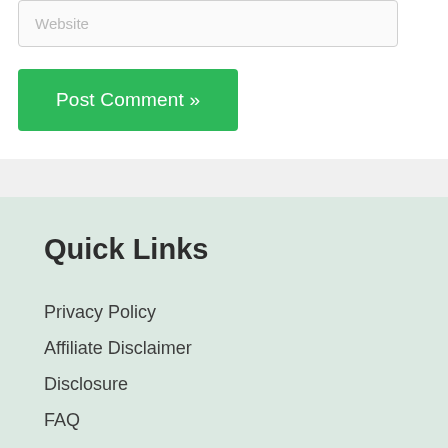Website
Post Comment »
Quick Links
Privacy Policy
Affiliate Disclaimer
Disclosure
FAQ
Sitemap